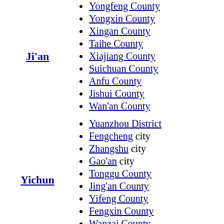Ji'an
Yongfeng County
Yongxin County
Xingan County
Taihe County
Xiajiang County
Suichuan County
Anfu County
Jishui County
Wan'an County
Yichun
Yuanzhou District
Fengcheng city
Zhangshu city
Gao'an city
Tonggu County
Jing'an County
Yifeng County
Fengxin County
Wanzai County
Shanggao County
Linchuan District
Dongxiang District
Nanfeng County
Le'an County